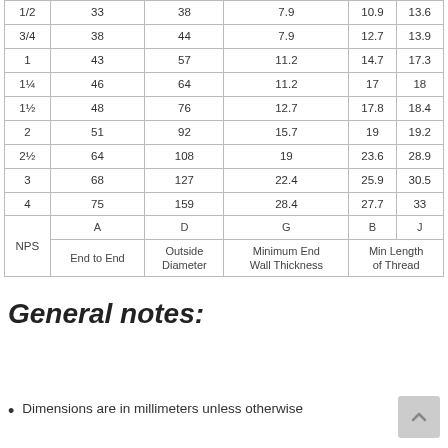| NPS | A End to End | D Outside Diameter | G Minimum End Wall Thickness | B Min Length of Thread | J Min Length of Thread |
| --- | --- | --- | --- | --- | --- |
| 1/2 | 33 | 38 | 7.9 | 10.9 | 13.6 |
| 3/4 | 38 | 44 | 7.9 | 12.7 | 13.9 |
| 1 | 43 | 57 | 11.2 | 14.7 | 17.3 |
| 1¼ | 46 | 64 | 11.2 | 17 | 18 |
| 1½ | 48 | 76 | 12.7 | 17.8 | 18.4 |
| 2 | 51 | 92 | 15.7 | 19 | 19.2 |
| 2½ | 64 | 108 | 19 | 23.6 | 28.9 |
| 3 | 68 | 127 | 22.4 | 25.9 | 30.5 |
| 4 | 75 | 159 | 28.4 | 27.7 | 33 |
| NPS | A End to End | D Outside Diameter | G Minimum End Wall Thickness | B Min Length of Thread | J Min Length of Thread |
General notes:
Dimensions are in millimeters unless otherwise